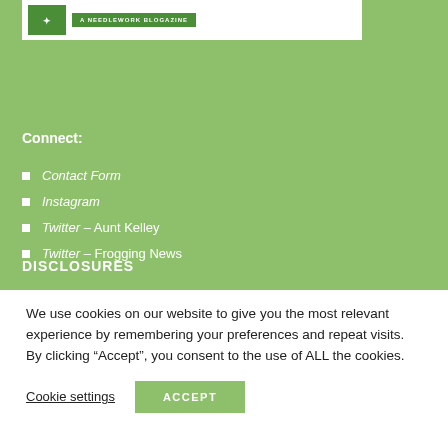[Figure (logo): Needlework blogazine logo header bar with green badge reading 'A NEEDLEWORK BLOGAZINE']
Connect:
Contact Form
Instagram
Twitter – Aunt Kelley
Twitter – Frogging News
DISCLOSURES
We use cookies on our website to give you the most relevant experience by remembering your preferences and repeat visits. By clicking “Accept”, you consent to the use of ALL the cookies.
Cookie settings   ACCEPT